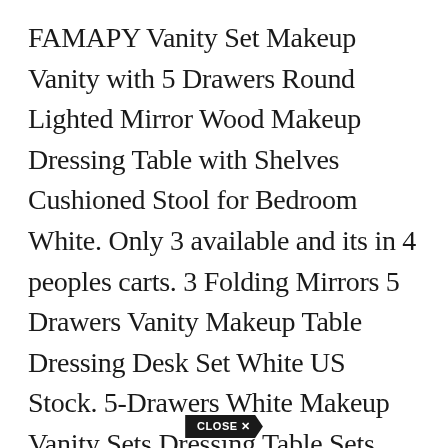FAMAPY Vanity Set Makeup Vanity with 5 Drawers Round Lighted Mirror Wood Makeup Dressing Table with Shelves Cushioned Stool for Bedroom White. Only 3 available and its in 4 peoples carts. 3 Folding Mirrors 5 Drawers Vanity Makeup Table Dressing Desk Set White US Stock. 5-Drawers White Makeup Vanity Sets Dressing Table Sets With Stool Mirror LED Light and 3-Tier Storage Shelves. Consider your storage needs